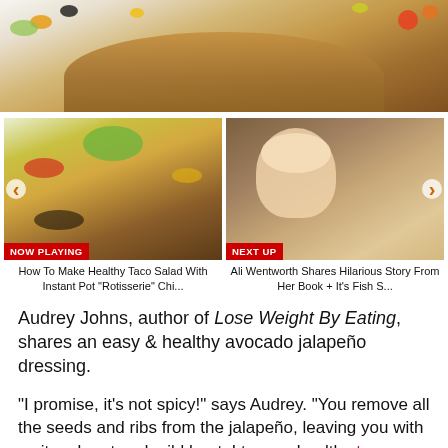[Figure (photo): Top portion of a taco salad served in a large crispy tortilla bowl, showing colorful toppings including olives, cheese, tomatoes, and lettuce on a white background.]
[Figure (photo): Left thumbnail: Healthy taco salad in a tortilla bowl with avocado jalapeño dressing on top, labeled NOW PLAYING. Right thumbnail: Woman with blonde hair smiling on a TV show set, labeled NEXT UP.]
How To Make Healthy Taco Salad With Instant Pot "Rotisserie" Chi...
Ali Wentworth Shares Hilarious Story From Her Book + It's Fish S...
Audrey Johns, author of Lose Weight By Eating, shares an easy & healthy avocado jalapeño dressing.
"I promise, it's not spicy!" says Audrey. "You remove all the seeds and ribs from the jalapeño, leaving you with a citrus burst and mild heat. I top my healthy taco